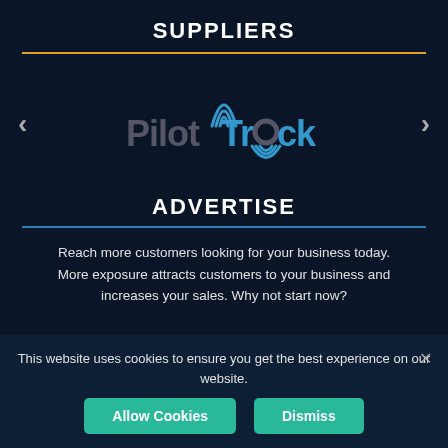SUPPLIERS
[Figure (logo): PilotTrack logo with blue WiFi/signal arc above the letter 'o', grey and blue stylized text]
ADVERTISE
Reach more customers looking for your business today. More exposure attracts customers to your business and increases your sales. Why not start now?
This website uses cookies to ensure you get the best experience on our website.